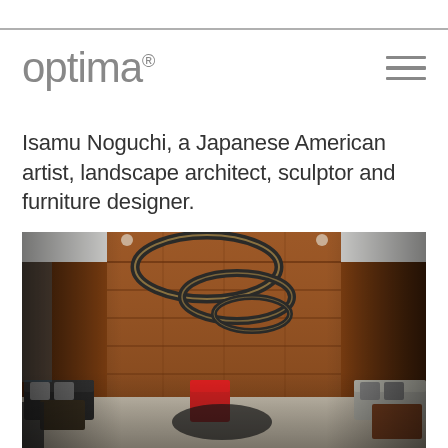optima
Isamu Noguchi, a Japanese American artist, landscape architect, sculptor and furniture designer.
[Figure (photo): Interior lobby photograph showing a modern lounge area with circular ring pendant lights hanging from a high ceiling, warm wood-paneled walls, and contemporary furniture including black leather sofas and a red accent chair arranged around a central coffee table area.]